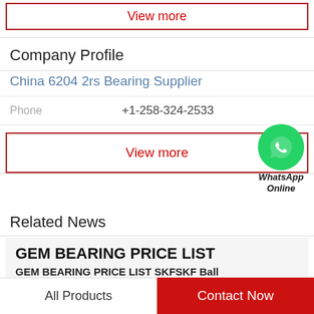View more
Company Profile
China 6204 2rs Bearing Supplier
Phone   +1-258-324-2533
View more
[Figure (logo): WhatsApp green circle icon with phone handset, labeled WhatsApp Online]
Related News
GEM BEARING PRICE LIST
GEM BEARING PRICE LIST SKFSKF Ball
All Products
Contact Now